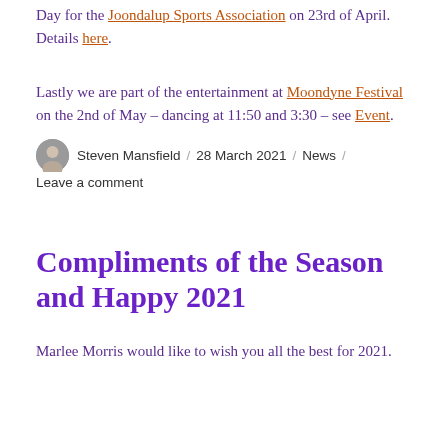Day for the Joondalup Sports Association on 23rd of April. Details here.
Lastly we are part of the entertainment at Moondyne Festival on the 2nd of May – dancing at 11:50 and 3:30 – see Event.
Steven Mansfield / 28 March 2021 / News / Leave a comment
Compliments of the Season and Happy 2021
Marlee Morris would like to wish you all the best for 2021.